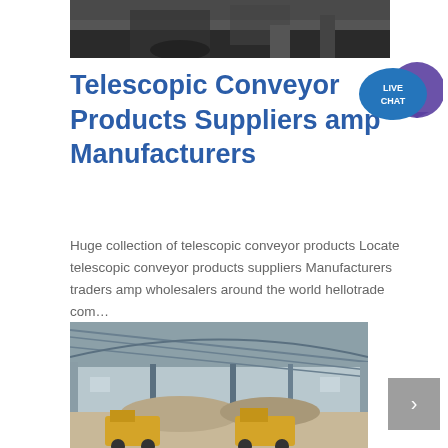[Figure (photo): Top partial photo of industrial/conveyor equipment, dark tones]
Telescopic Conveyor Products Suppliers amp Manufacturers
[Figure (illustration): Live Chat speech bubble widget in blue/purple]
Huge collection of telescopic conveyor products Locate telescopic conveyor products suppliers Manufacturers traders amp wholesalers around the world hellotrade com…
[Figure (photo): Warehouse interior with two yellow loader machines and piles of gravel/stone, metal roof structure]
[Figure (other): Grey scroll-to-top or navigation button with arrow icon]